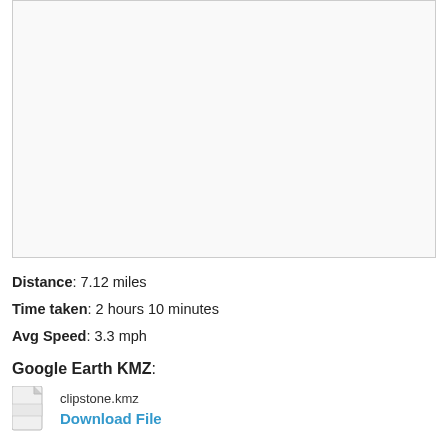[Figure (other): Map image placeholder — a large white/light gray rectangular area with a thin border representing an embedded route map.]
Distance: 7.12 miles
Time taken: 2 hours 10 minutes
Avg Speed: 3.3 mph
Google Earth KMZ:
clipstone.kmz
Download File